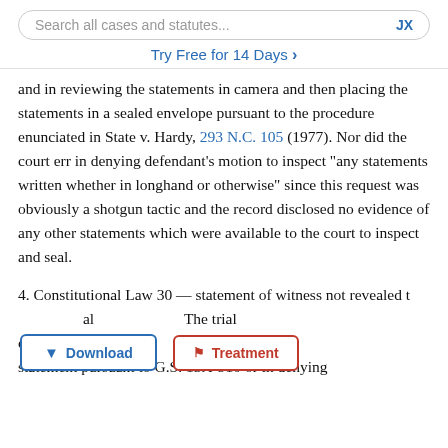Search all cases and statutes...   JX
Try Free for 14 Days >
and in reviewing the statements in camera and then placing the statements in a sealed envelope pursuant to the procedure enunciated in State v. Hardy, 293 N.C. 105 (1977). Nor did the court err in denying defendant’s motion to inspect “any statements written whether in longhand or otherwise” since this request was obviously a shotgun tactic and the record disclosed no evidence of any other statements which were available to the court to inspect and seal.
4. Constitutional Law 30 — statement of witness not revealed to defendant at trial — finding. The trial court did not err in failing to order production of s statement pursuant to G.S. 15A-910 or in denying
[Figure (screenshot): Two UI buttons overlaid on text: a 'Download' button with blue border and down-arrow icon, and a 'Treatment' button with red border and flag icon]